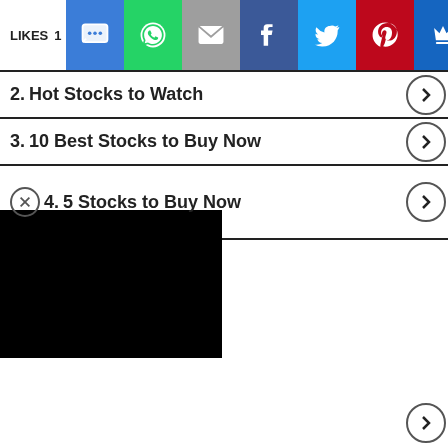[Figure (screenshot): Social sharing bar with LIKES label and icons: SMS (blue), WhatsApp (green), Email (grey), Facebook (dark blue), Twitter (light blue), Pinterest (red), Crown/Save (dark blue)]
2.  Hot Stocks to Watch
3.  10 Best Stocks to Buy Now
4.  5 Stocks to Buy Now
[Figure (screenshot): Black video player overlay covering left portion of list item row 4, with a close (X) circle icon on left side]
Search for
Top 5...
Hot S...
[Figure (screenshot): Advertisement banner at bottom: beauty/makeup photo thumbnails, ULTA logo, and SHOP NOW button on dark grey background. CLOSE button overlay.]